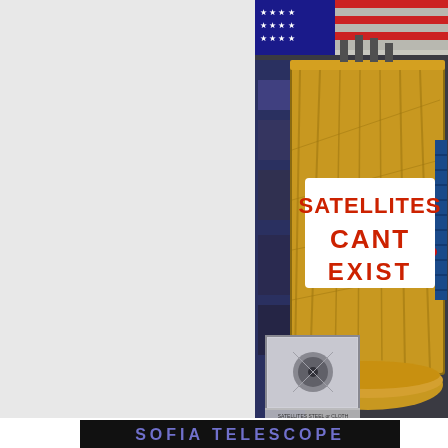[Figure (photo): A satellite covered in gold thermal foil with a large white sign reading 'SATELLITES CANT EXIST' in red text, overlaid on a photo of the satellite in a lab/testing facility with an American flag visible in the background. Text overlay on the right side references thermosphere temperatures and melting points of gold, titanium, and aluminum. A smaller inset image appears in the lower left of the main photo.]
[Figure (other): Black background image with 'SOFIA TELESCOPE' written in large bold purple/blue letters.]